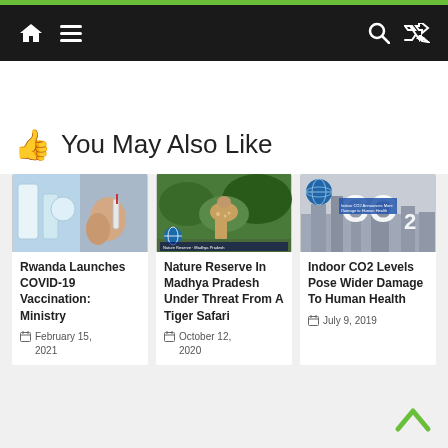Navigation bar with home, menu, search, and shuffle icons
👍 You May Also Like
[Figure (photo): Photo of vaccine vials and hands holding a syringe]
Rwanda Launches COVID-19 Vaccination: Ministry
February 15, 2021
[Figure (photo): Photo of a deer in a nature reserve with a globe icon overlay]
Nature Reserve In Madhya Pradesh Under Threat From A Tiger Safari
October 12, 2020
[Figure (photo): Image showing CO2 text with globe and industrial background]
Indoor CO2 Levels Pose Wider Damage To Human Health
July 9, 2019